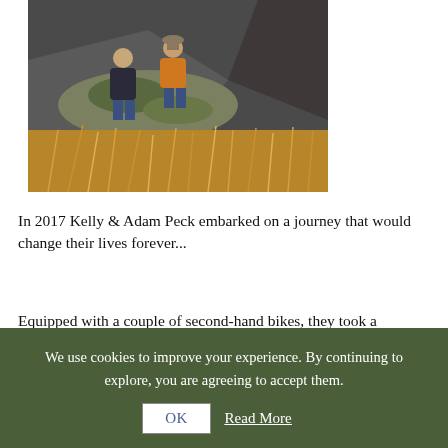[Figure (photo): Two people sitting on a rocky hillside with dry golden grass and mossy rocks; one wearing a dark jacket and one wearing an orange jacket; mountainous landscape in background.]
In 2017 Kelly & Adam Peck embarked on a journey that would change their lives forever...
Equipped with a couple of second-hand bikes, they took a
We use cookies to improve your experience. By continuing to explore, you are agreeing to accept them.
OK   Read More